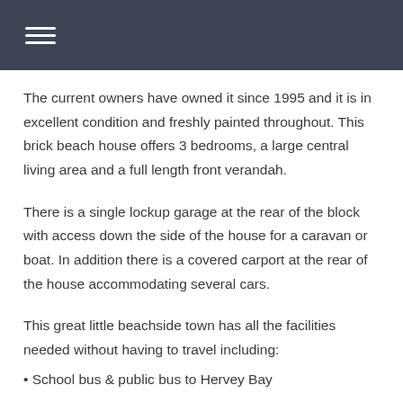The current owners have owned it since 1995 and it is in excellent condition and freshly painted throughout. This brick beach house offers 3 bedrooms, a large central living area and a full length front verandah.
There is a single lockup garage at the rear of the block with access down the side of the house for a caravan or boat. In addition there is a covered carport at the rear of the house accommodating several cars.
This great little beachside town has all the facilities needed without having to travel including:
• School bus & public bus to Hervey Bay